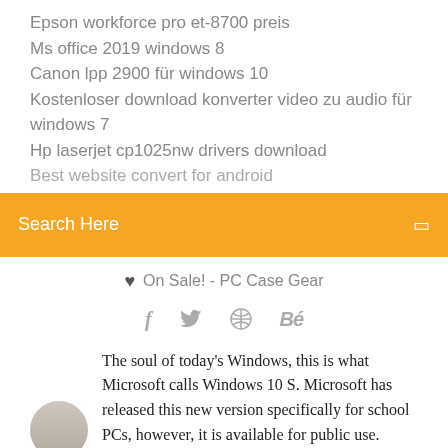Epson workforce pro et-8700 preis
Ms office 2019 windows 8
Canon lpp 2900 für windows 10
Kostenloser download konverter video zu audio für windows 7
Hp laserjet cp1025nw drivers download
[partial/truncated item]
Search Here
On Sale! - PC Case Gear
[Figure (infographic): Social media icons: Facebook (f), Twitter (bird), a wheel/dribbble icon, and Behance (Be)]
The soul of today's Windows, this is what Microsoft calls Windows 10 S. Microsoft has released this new version specifically for school PCs, however, it is available for public use.
17 Oct 2016 | bought a Microsoft Bluetooth